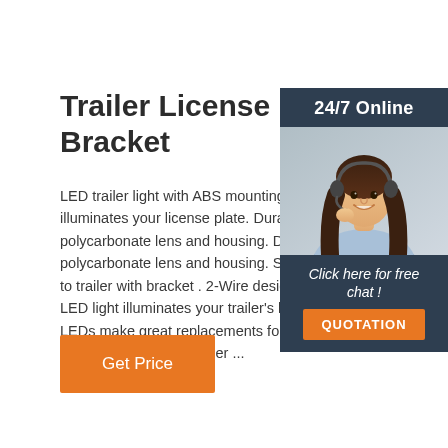Trailer License Plate Mo... Bracket
LED trailer light with ABS mounting bracke... illuminates your license plate. Durable polycarbonate lens and housing. Durable polycarbonate lens and housing. Surface m... to trailer with bracket . 2-Wire design.Feat... LED light illuminates your trailer's license p... LEDs make great replacements for incand... lights Last 50 times longer ...
[Figure (photo): Customer service representative woman with headset, 24/7 Online chat widget with orange QUOTATION button on dark navy background]
Get Price